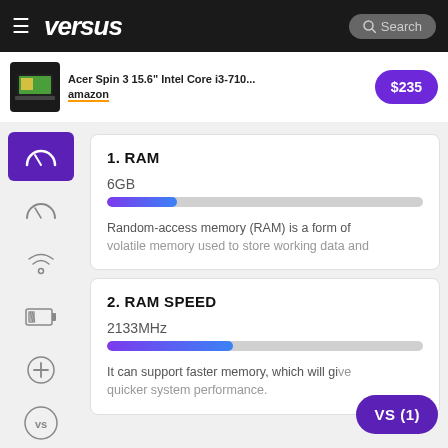versus — Search
[Figure (screenshot): Ad banner: Acer Spin 3 15.6 Intel Core i3-710... on Amazon for $235]
1. RAM
6GB
Random-access memory (RAM) is a form of volatile memory used to store working data and
2. RAM SPEED
2133MHz
It can support faster memory, which will give quicker system performance.